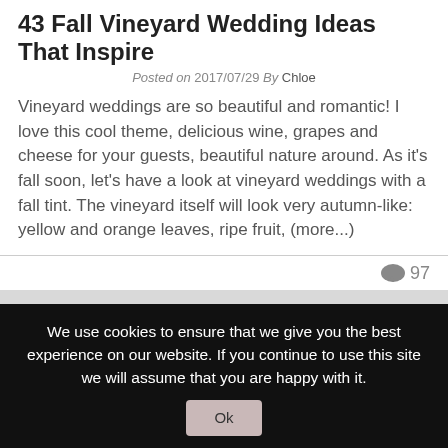43 Fall Vineyard Wedding Ideas That Inspire
Posted on 2017/07/29 By Chloe
Vineyard weddings are so beautiful and romantic! I love this cool theme, delicious wine, grapes and cheese for your guests, beautiful nature around. As it's fall soon, let's have a look at vineyard weddings with a fall tint. The vineyard itself will look very autumn-like: yellow and orange leaves, ripe fruit, (more...)
💬 97
Our friends:
We use cookies to ensure that we give you the best experience on our website. If you continue to use this site we will assume that you are happy with it.